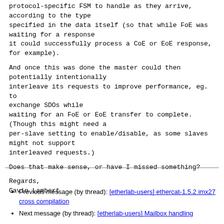protocol-specific FSM to handle as they arrive,
according to the type
specified in the data itself (so that while FoE was
waiting for a response
it could successfully process a CoE or EoE response,
for example).
And once this was done the master could then
potentially intentionally
interleave its requests to improve performance, eg. to
exchange SDOs while
waiting for an FoE or EoE transfer to complete.
(Though this might need a
per-slave setting to enable/disable, as some slaves
might not support
interleaved requests.)
Does that make sense, or have I missed something?
Regards,
Gavin Lambert
Previous message (by thread): [etherlab-users] ethercat-1.5.2 imx27 cross compilation
Next message (by thread): [etherlab-users] Mailbox handling